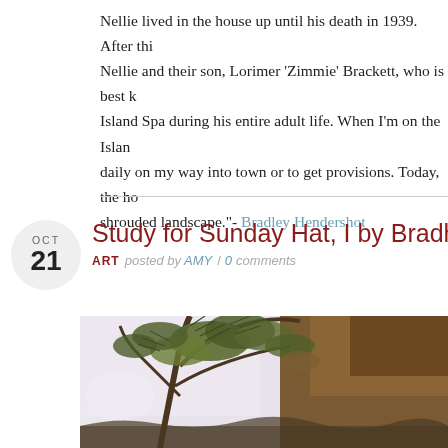Nellie lived in the house up until his death in 1939. After this, Nellie and their son, Lorimer 'Zimmie' Brackett, who is best known for running the Island Spa during his entire adult life. When I'm on the Island, I pass daily on my way into town or to get provisions. Today, the house is a shrouded landscape."- Bradley Hendershot
Study for Sunday Hat, I by Bradley Hendershot
ART posted by AMY / 0 comments
[Figure (photo): A painting or photograph showing tree branches with foliage against a light sky, with warm earthy tones, partly cropped.]